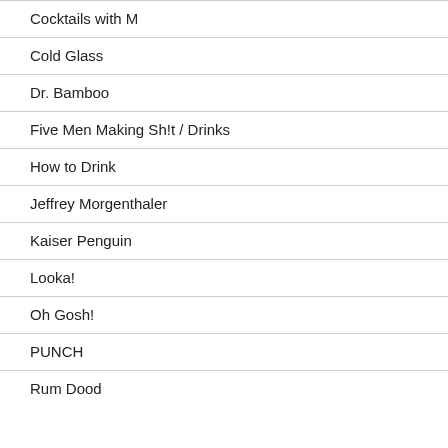Cocktails with M
Cold Glass
Dr. Bamboo
Five Men Making Sh!t / Drinks
How to Drink
Jeffrey Morgenthaler
Kaiser Penguin
Looka!
Oh Gosh!
PUNCH
Rum Dood